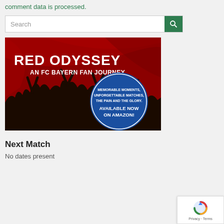comment data is processed.
[Figure (screenshot): Search bar with green search button]
[Figure (illustration): Red Odyssey - An FC Bayern Fan Journey book/product advertisement. Red background with crowd silhouette, blue circle badge reading: MEMORABLE MOMENTS. UNFORGETTABLE MATCHES. THE PAIN AND THE GLORY. AVAILABLE NOW ON AMAZON!]
Next Match
No dates present